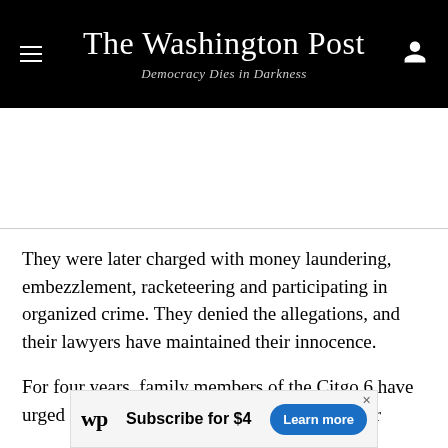The Washington Post — Democracy Dies in Darkness
They were later charged with money laundering, embezzlement, racketeering and participating in organized crime. They denied the allegations, and their lawyers have maintained their innocence.
For four years, family members of the Citgo 6 have urged the U.S. government to help protect their
[Figure (other): Washington Post subscription advertisement banner: WP logo, 'Subscribe for $4', 'Learn more' button]